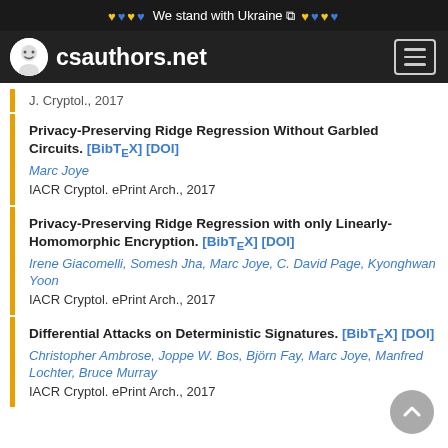We stand with Ukraine — csauthors.net
J. Cryptol., 2017
Privacy-Preserving Ridge Regression Without Garbled Circuits. [BibTeX] [DOI]
Marc Joye
IACR Cryptol. ePrint Arch., 2017
Privacy-Preserving Ridge Regression with only Linearly-Homomorphic Encryption. [BibTeX] [DOI]
Irene Giacomelli, Somesh Jha, Marc Joye, C. David Page, Kyonghwan Yoon
IACR Cryptol. ePrint Arch., 2017
Differential Attacks on Deterministic Signatures. [BibTeX] [DOI]
Christopher Ambrose, Joppe W. Bos, Björn Fay, Marc Joye, Manfred Lochter, Bruce Murray
IACR Cryptol. ePrint Arch., 2017